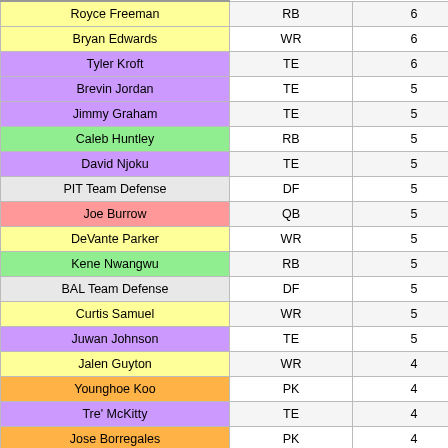| Player Name | Position | Points |
| --- | --- | --- |
| Royce Freeman | RB | 6 |
| Bryan Edwards | WR | 6 |
| Tyler Kroft | TE | 6 |
| Brevin Jordan | TE | 5 |
| Jimmy Graham | TE | 5 |
| Caleb Huntley | RB | 5 |
| David Njoku | TE | 5 |
| PIT Team Defense | DF | 5 |
| Joe Burrow | QB | 5 |
| DeVante Parker | WR | 5 |
| Kene Nwangwu | RB | 5 |
| BAL Team Defense | DF | 5 |
| Curtis Samuel | WR | 5 |
| Juwan Johnson | TE | 5 |
| Jalen Guyton | WR | 4 |
| Younghoe Koo | PK | 4 |
| Tre' McKitty | TE | 4 |
| Jose Borregales | PK | 4 |
| Cordarrelle Patterson | RB | 4 |
| Frank Darby | WR | 4 |
| J.D. McKissic | RB | 4 |
| Darwin Thompson | RB | 4 |
| CAR Team Defense | DF | 4 |
| Hunter Renfrow | WR | 4 |